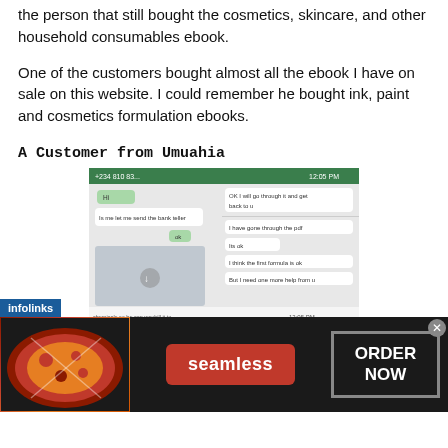The same person that opted for paint production manual is the person that still bought the cosmetics, skincare, and other household consumables ebook.
One of the customers bought almost all the ebook I have on sale on this website. I could remember he bought ink, paint and cosmetics formulation ebooks.
A Customer from Umuahia
[Figure (screenshot): Screenshot of a WhatsApp conversation showing messages about bank teller and chemical formulations. Left side shows messages: 'Hi', 'Is me let me send the bank teller', 'ok'. Right side shows: 'OK I will go through it and get back to u', 'I have gone through the pdf', 'Its ok', 'I think the first formula is ok', 'But I need one more help from u'. Bottom shows 'chemicals so he can waybill it to' and timestamp 12:05 PM.]
[Figure (infographic): Advertisement banner for Seamless food delivery. Shows pizza image on left, red 'seamless' button in center, and 'ORDER NOW' button with border on right. 'infolinks' label in blue at bottom left of screenshot area.]